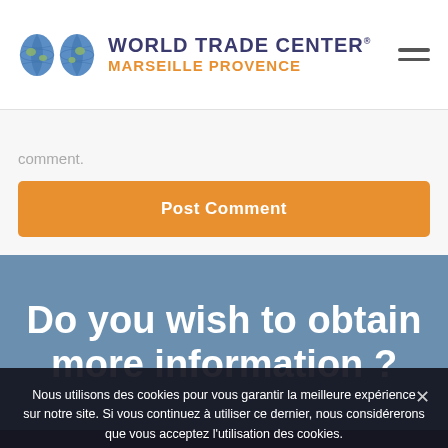[Figure (logo): World Trade Center Marseille Provence logo with two globe icons and stylized name text]
comment.
Post Comment
Do you wish to obtain more information ?
Nous utilisons des cookies pour vous garantir la meilleure expérience sur notre site. Si vous continuez à utiliser ce dernier, nous considérerons que vous acceptez l'utilisation des cookies.
Ok